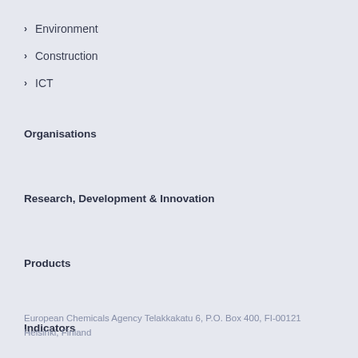Environment
Construction
ICT
Organisations
Research, Development & Innovation
Products
Indicators
European Chemicals Agency Telakkakatu 6, P.O. Box 400, FI-00121 Helsinki, Finland